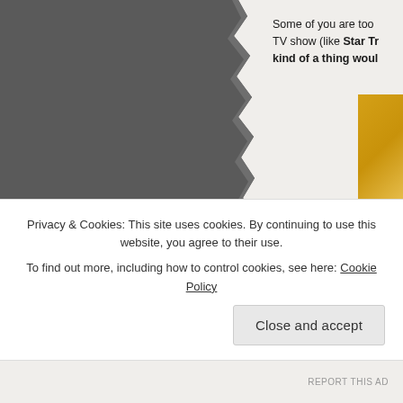[Figure (photo): Dark gray photograph occupying the left portion of the page, with a torn paper edge effect on the right side]
Some of you are too TV show (like Star Tr kind of a thing woul
[Figure (photo): Partial gold/yellow colored image visible in the upper right corner]
Privacy & Cookies: This site uses cookies. By continuing to use this website, you agree to their use.
To find out more, including how to control cookies, see here: Cookie Policy
Close and accept
REPORT THIS AD